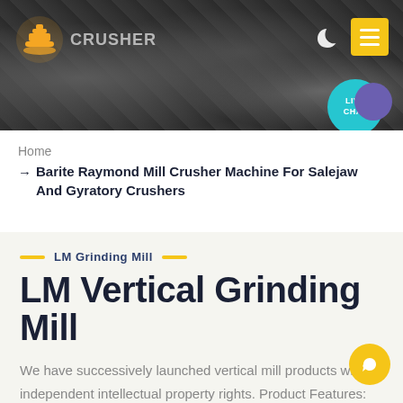[Figure (photo): Website header with quarry/mining site background photo showing crusher machinery and rocky terrain. Logo of a crusher company (orange/yellow icon) with text 'CRUSHER' on the left. Navigation icons including a moon/dark mode icon and a yellow menu hamburger button on the top right. A teal 'LIVE CHAT' bubble with a purple dot on the right side.]
Home
→ Barite Raymond Mill Crusher Machine For Salejaw And Gyratory Crushers
LM Grinding Mill
LM Vertical Grinding Mill
We have successively launched vertical mill products with independent intellectual property rights. Product Features: Integration of multiple functions, more stable and reliable